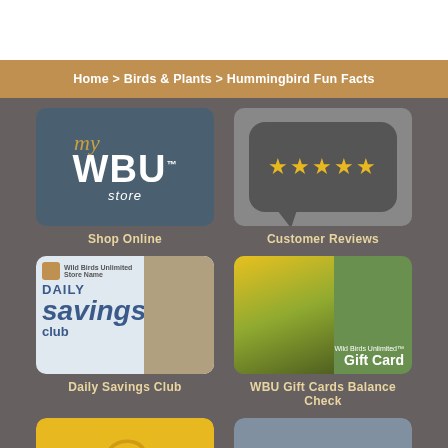Home > Birds & Plants > Hummingbird Fun Facts
[Figure (logo): my WBU store logo on dark blue-grey background]
Shop Online
[Figure (illustration): Speech bubble with five gold stars - Customer Reviews icon]
Customer Reviews
[Figure (photo): Daily Savings Club card with bird feeder and chickadee]
Daily Savings Club
[Figure (photo): Wild Birds Unlimited Gift Card with goldfinch and black-eyed susans]
WBU Gift Cards Balance Check
[Figure (illustration): Yellow email/newsletter icon with @ symbol]
[Figure (photo): Wild Birds Unlimited store exterior photo]